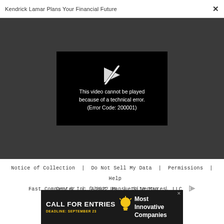Kendrick Lamar Plans Your Financial Future  ×
[Figure (screenshot): Video player showing error message: This video cannot be played because of a technical error. (Error Code: 200001), with a broken play button icon on black background, surrounded by dark gray area.]
Notice of Collection  |  Do Not Sell My Data  |  Permissions  |  Help Center  |  About Us  |  Site Map  |
Fast Company & Inc © 2022 Mansueto Ventures, LLC
[Figure (infographic): Advertisement banner: CALL FOR ENTRIES DEADLINE: SEPTEMBER 23 [lightbulb icon] Most Innovative Companies]